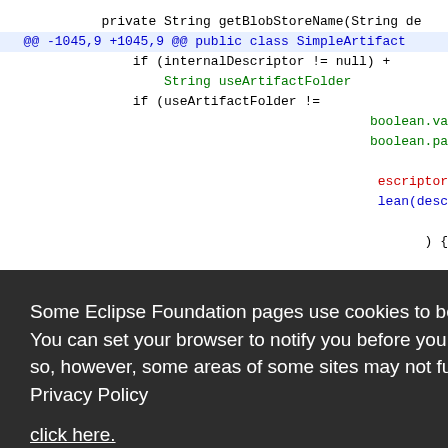[Figure (screenshot): A web page screenshot showing Eclipse Foundation code review (diff view) partially obscured by a cookie consent overlay dialog. The code shows Java diff with lines in black, blue, green, and red. The overlay has a dark background with white text about cookies, a 'click here.' link, and two buttons: 'Decline' (white) and 'Allow cookies' (orange).]
Some Eclipse Foundation pages use cookies to better serve you when you return to the site. You can set your browser to notify you before you receive a cookie or turn off cookies. If you do so, however, some areas of some sites may not function properly. To read Eclipse Foundation Privacy Policy
click here.
Decline
Allow cookies
- boolean useFull = Boolean.valueO